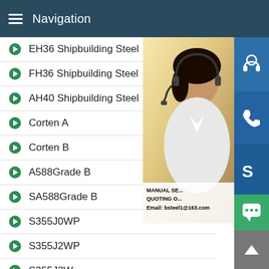Navigation
EH36 Shipbuilding Steel
FH36 Shipbuilding Steel
AH40 Shipbuilding Steel
Corten A
Corten B
A588Grade B
SA588Grade B
S355J0WP
S355J2WP
S355J2W
S355J2WP
[Figure (photo): Customer service representative (woman with headset) with overlaid promotional text: MANUAL SE... QUOTING O... Email: bsteel1@163.com, and blue icon buttons for chat/phone/Skype and green chat widget]